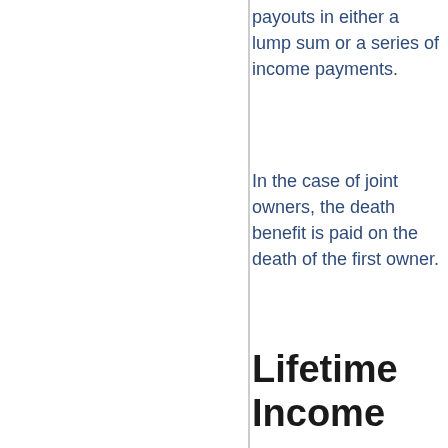payouts in either a lump sum or a series of income payments.
In the case of joint owners, the death benefit is paid on the death of the first owner.
Lifetime Income
An important feature of annuity contracts is the ability to have an income that you cannot outlive.